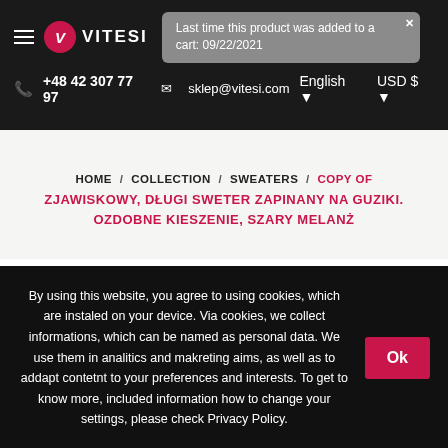VITESI — navigation bar with logo, phone +48 42 307 77 97, sklep@vitesi.com, English, USD $
Last time this product was added to a cart: 09/22/2021
HOME / COLLECTION / SWEATERS / COPY OF ZJAWISKOWY, DŁUGI SWETER ZAPINANY NA GUZIKI. OZDOBNE KIESZENIE, SZARY MELANŻ
By using this website, you agree to using cookies, which are instaled on your device. Via cookies, we collect informations, which can be named as personal data. We use them in analitics and makreting aims, as well as to addapt contetnt to your preferences and interests. To get to know more, included information how to change your settings, please check Privacy Policy.